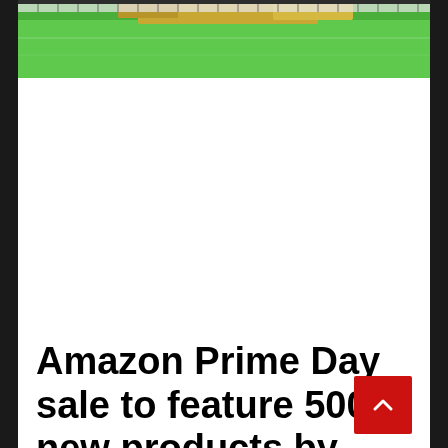[Figure (photo): Partial photo showing a green surface (likely a printing screen or fabric on a table) with yellow/brown objects in the upper portion, taken from above.]
Amazon Prime Day sale to feature 500 new products by small and medium businesses